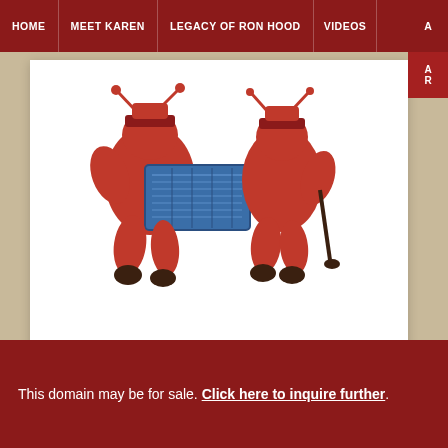HOME | MEET KAREN | LEGACY OF RON HOOD | VIDEOS | A...
[Figure (illustration): Cartoon illustration of two red soldier/lobster-like figures carrying a blue chest or box, with large red claw-like legs and wearing hats]
One last thought. If you have a strong stomach… or at least a clear s… kills are often infested with them. Gather a handful or two, drop you… couple of times. Then boil. After about five minutes, toss in a bullion… back to a fine hot stew of what looks like brown rice. It is really a fin…
January 7, 2010 Karen Hood
This domain may be for sale. Click here to inquire further.